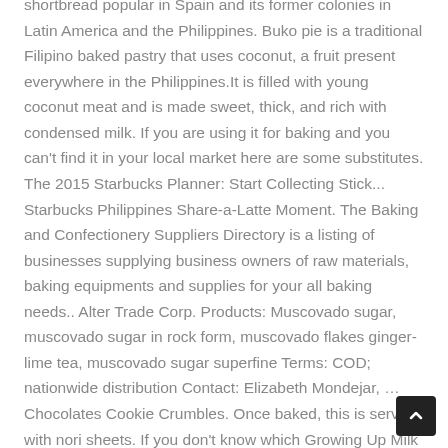shortbread popular in Spain and its former colonies in Latin America and the Philippines. Buko pie is a traditional Filipino baked pastry that uses coconut, a fruit present everywhere in the Philippines.It is filled with young coconut meat and is made sweet, thick, and rich with condensed milk. If you are using it for baking and you can't find it in your local market here are some substitutes. The 2015 Starbucks Planner: Start Collecting Stick... Starbucks Philippines Share-a-Latte Moment. The Baking and Confectionery Suppliers Directory is a listing of businesses supplying business owners of raw materials, baking equipments and supplies for your all baking needs.. Alter Trade Corp. Products: Muscovado sugar, muscovado sugar in rock form, muscovado flakes ginger-lime tea, muscovado sugar superfine Terms: COD; nationwide distribution Contact: Elizabeth Mondejar, … Chocolates Cookie Crumbles. Once baked, this is served with nori sheets. If you don't know which Growing Up Milk Formula to pick, you can